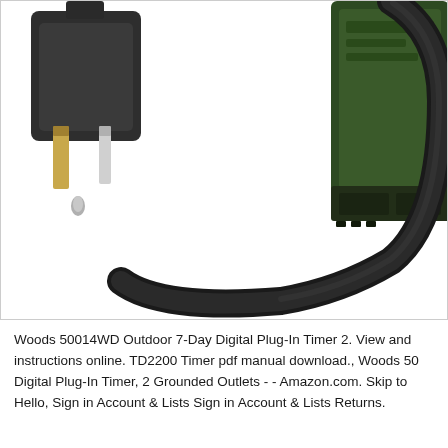[Figure (photo): Close-up photo showing a 3-prong electrical plug on the left side and a large black cable looping down connected to a dark green outdoor timer device on the right side, against a white background.]
Woods 50014WD Outdoor 7-Day Digital Plug-In Timer 2. View and instructions online. TD2200 Timer pdf manual download., Woods 50 Digital Plug-In Timer, 2 Grounded Outlets - - Amazon.com. Skip to Hello, Sign in Account & Lists Sign in Account & Lists Returns.